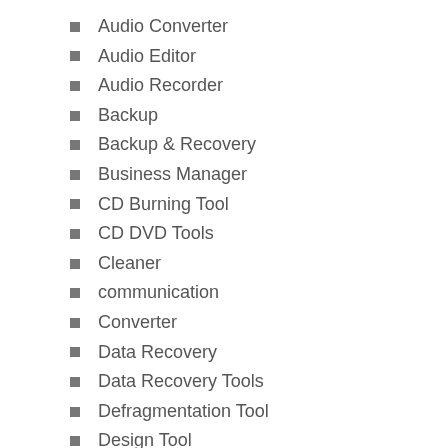Audio Converter
Audio Editor
Audio Recorder
Backup
Backup & Recovery
Business Manager
CD Burning Tool
CD DVD Tools
Cleaner
communication
Converter
Data Recovery
Data Recovery Tools
Defragmentation Tool
Design Tool
Desktop Enhancements